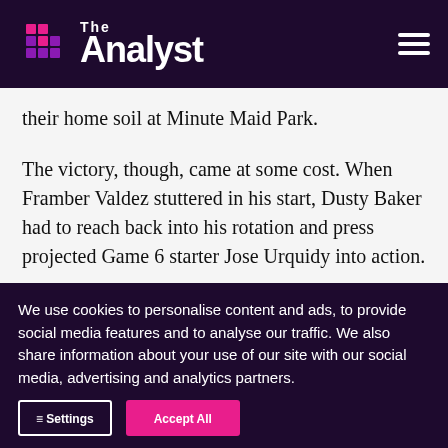The Analyst
their home soil at Minute Maid Park.
The victory, though, came at some cost. When Framber Valdez stuttered in his start, Dusty Baker had to reach back into his rotation and press projected Game 6 starter Jose Urquidy into action.
Although he would throw just 14 pitches in one
We use cookies to personalise content and ads, to provide social media features and to analyse our traffic. We also share information about your use of our site with our social media, advertising and analytics partners.